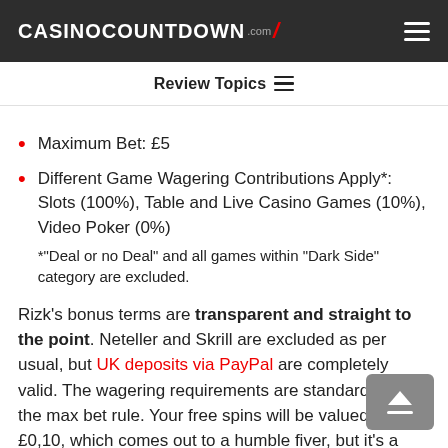CASINOCOUNTDOWN .com [lightning bolt icon]
Review Topics
Maximum Bet: £5
Different Game Wagering Contributions Apply*: Slots (100%), Table and Live Casino Games (10%), Video Poker (0%)
*"Deal or no Deal" and all games within "Dark Side" category are excluded.
Rizk's bonus terms are transparent and straight to the point. Neteller and Skrill are excluded as per usual, but UK deposits via PayPal are completely valid. The wagering requirements are standard, as is the max bet rule. Your free spins will be valued at £0,10, which comes out to a humble fiver, but it's a nice extra kick on top.